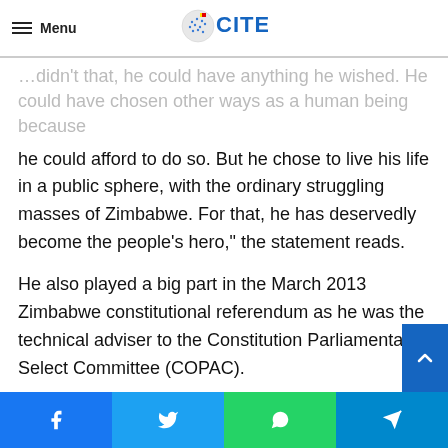Menu | CITE
…didn't that, he could have anything he wished. He could have chosen other ways as a human being because he could afford to do so. But he chose to live his life in a public sphere, with the ordinary struggling masses of Zimbabwe. For that, he has deservedly become the people's hero," the statement reads.
He also played a big part in the March 2013 Zimbabwe constitutional referendum as he was the technical adviser to the Constitution Parliamentary Select Committee (COPAC).
“In that regard, on behalf of the millions of Zimbabweans whose lives are touched by Alex Magaisa, today we declare Dr Alex Tawanda Magaisa the People of Zimbabwe's National Hero.
Facebook | Twitter | WhatsApp | Telegram